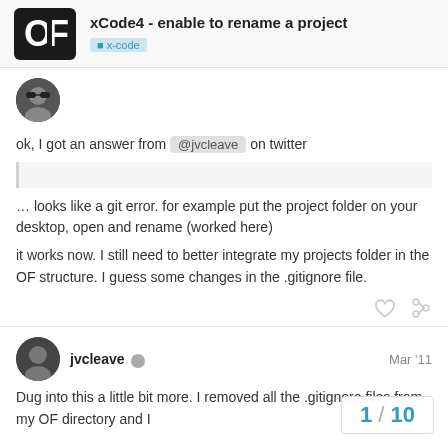xCode4 - enable to rename a project | x-code
[Figure (logo): openFrameworks logo - black square with OF letters]
[Figure (photo): User avatar - person wearing sunglasses]
ok, I got an answer from @jvcleave on twitter
… looks like a git error. for example put the project folder on your desktop, open and rename (worked here)
it works now. I still need to better integrate my projects folder in the OF structure. I guess some changes in the .gitignore file.
[Figure (photo): User avatar jvcleave - dark profile photo]
jvcleave  Mar '11
Dug into this a little bit more. I removed all .gitignore files from my OF directory and I
1 / 10